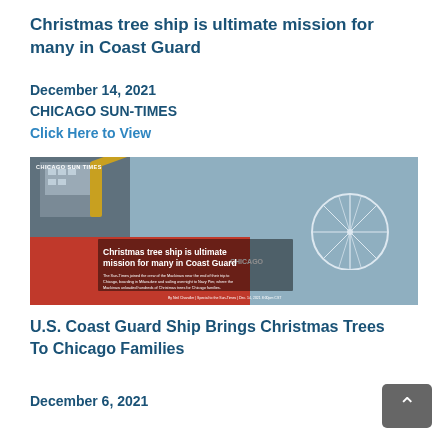Christmas tree ship is ultimate mission for many in Coast Guard
December 14, 2021
CHICAGO SUN-TIMES
Click Here to View
[Figure (photo): Photo of a Coast Guard ship (the Mackinaw) docked near Navy Pier in Chicago, with a red hull visible and a Ferris wheel in the background. Overlay text reads: 'Christmas tree ship is ultimate mission for many in Coast Guard'. Small text below describes The Sun-Times joining the crew of the Mackinaw. Chicago Sun Times watermark top left.]
U.S. Coast Guard Ship Brings Christmas Trees To Chicago Families
December 6, 2021